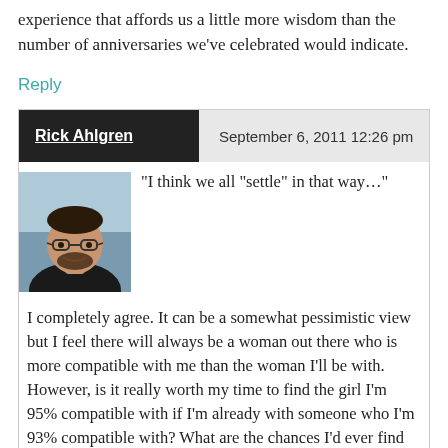experience that affords us a little more wisdom than the number of anniversaries we've celebrated would indicate.
Reply
Rick Ahlgren   September 6, 2011 12:26 pm
[Figure (photo): Profile photo of Rick Ahlgren, a man with glasses and a beard, smiling.]
“I think we all “settle” in that way…”
I completely agree. It can be a somewhat pessimistic view but I feel there will always be a woman out there who is more compatible with me than the woman I’ll be with. However, is it really worth my time to find the girl I’m 95% compatible with if I’m already with someone who I’m 93% compatible with? What are the chances I’d ever find her? What